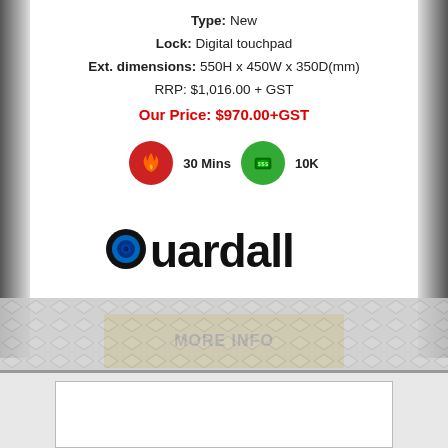Type: New
Lock: Digital touchpad
Ext. dimensions: 550H x 450W x 350D(mm)
RRP: $1,016.00 + GST
Our Price: $970.00+GST
[Figure (infographic): Two badge icons: a red circle with flame icon labeled '30 Mins' and a green circle with money icon labeled '10K']
[Figure (logo): Guardall logo in bold black letters with blue circular eye/lens element replacing the letter G]
MORE INFO